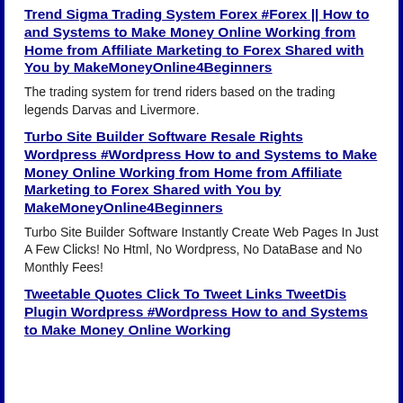Trend Sigma Trading System Forex #Forex || How to and Systems to Make Money Online Working from Home from Affiliate Marketing to Forex Shared with You by MakeMoneyOnline4Beginners
The trading system for trend riders based on the trading legends Darvas and Livermore.
Turbo Site Builder Software Resale Rights Wordpress #Wordpress How to and Systems to Make Money Online Working from Home from Affiliate Marketing to Forex Shared with You by MakeMoneyOnline4Beginners
Turbo Site Builder Software Instantly Create Web Pages In Just A Few Clicks! No Html, No Wordpress, No DataBase and No Monthly Fees!
Tweetable Quotes Click To Tweet Links TweetDis Plugin Wordpress #Wordpress How to and Systems to Make Money Online Working